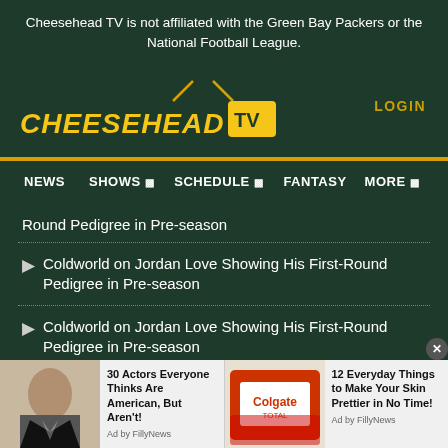Cheesehead TV is not affiliated with the Green Bay Packers or the National Football League.
[Figure (logo): Cheesehead TV logo with yellow italic text and TV icon in yellow box, with antenna]
LOGIN
NEWS  SHOWS  SCHEDULE  FANTASY  MORE
Round Pedigree in Pre-season
Coldworld on Jordan Love Showing His First-Round Pedigree in Pre-season
Coldworld on Jordan Love Showing His First-Round Pedigree in Pre-season
[Figure (photo): Ad: 30 Actors Everyone Thinks Are American, But Aren't! - Ad by FillyNews - photo of male actor]
[Figure (photo): Ad: 12 Everyday Things to Make Your Skin Prettier in No Time! - Ad by FillyNews - photo of Colgate products]